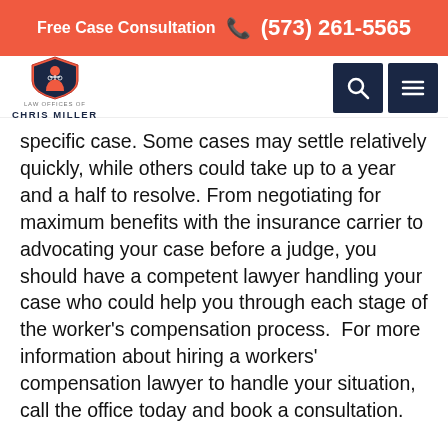Free Case Consultation (573) 261-5565
[Figure (logo): Law Offices of Chris Miller logo with shield emblem]
specific case. Some cases may settle relatively quickly, while others could take up to a year and a half to resolve. From negotiating for maximum benefits with the insurance carrier to advocating your case before a judge, you should have a competent lawyer handling your case who could help you through each stage of the worker's compensation process.  For more information about hiring a workers' compensation lawyer to handle your situation, call the office today and book a consultation.